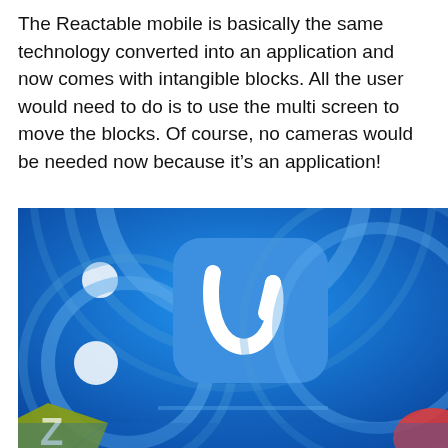The Reactable mobile is basically the same technology converted into an application and now comes with intangible blocks. All the user would need to do is to use the multi screen to move the blocks. Of course, no cameras would be needed now because it's an application!
[Figure (photo): Close-up photo of a Reactable mobile application interface showing a blue touchscreen display with circular interface elements, a rounded-square blue tile with a curved white line symbol in the center, and other interface elements including circular dots and a yellow-green triangular shape in the lower left corner.]